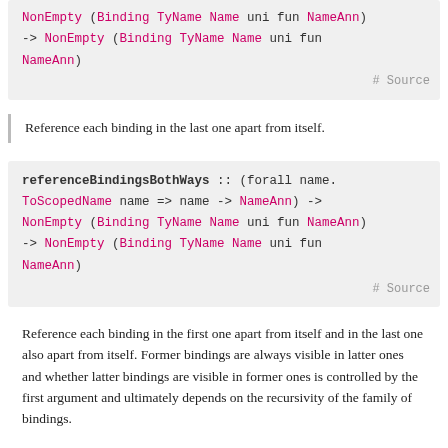NonEmpty (Binding TyName Name uni fun NameAnn)
-> NonEmpty (Binding TyName Name uni fun
NameAnn)   # Source
Reference each binding in the last one apart from itself.
referenceBindingsBothWays :: (forall name.
ToScopedName name => name -> NameAnn) ->
NonEmpty (Binding TyName Name uni fun NameAnn)
-> NonEmpty (Binding TyName Name uni fun
NameAnn)   # Source
Reference each binding in the first one apart from itself and in the last one also apart from itself. Former bindings are always visible in latter ones and whether latter bindings are visible in former ones is controlled by the first argument and ultimately depends on the recursivity of the family of bindings.